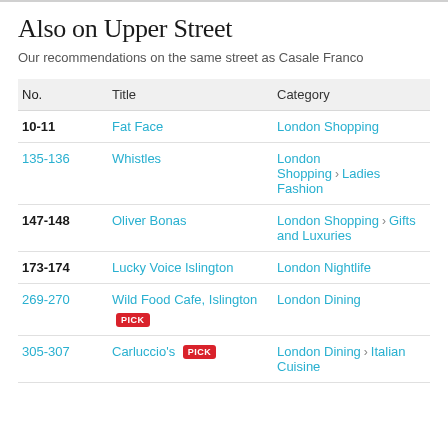Also on Upper Street
Our recommendations on the same street as Casale Franco
| No. | Title | Category |
| --- | --- | --- |
| 10-11 | Fat Face | London Shopping |
| 135-136 | Whistles | London Shopping > Ladies Fashion |
| 147-148 | Oliver Bonas | London Shopping > Gifts and Luxuries |
| 173-174 | Lucky Voice Islington | London Nightlife |
| 269-270 | Wild Food Cafe, Islington [PICK] | London Dining |
| 305-307 | Carluccio's [PICK] | London Dining > Italian Cuisine |